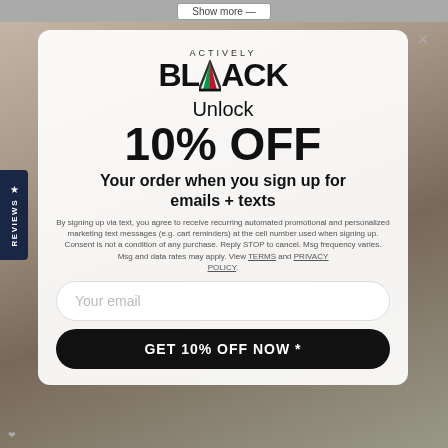Show more →
[Figure (screenshot): Close (X) button in top-right corner of modal]
[Figure (logo): Actively Black logo — word ACTIVELY above, BLACK in large bold with a red/green triangle replacing the A]
Unlock 10% OFF
Your order when you sign up for emails + texts
By signing up via text, you agree to receive recurring automated promotional and personalized marketing text messages (e.g. cart reminders) at the cell number used when signing up. Consent is not a condition of any purchase. Reply STOP to cancel. Msg frequency varies. Msg and data rates may apply. View TERMS and PRIVACY POLICY.
Your email
GET 10% OFF NOW *
[Figure (other): Reviews tab on left edge with star and REVIEWS text vertical, dark navy background]